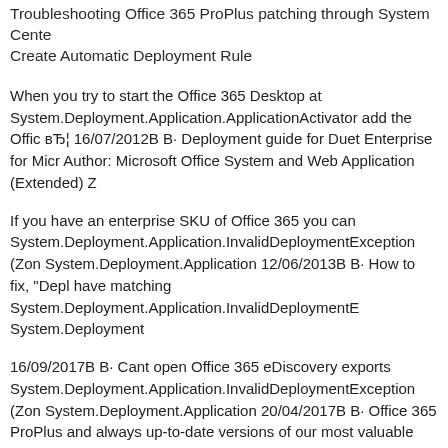Troubleshooting Office 365 ProPlus patching through System Center Create Automatic Deployment Rule
When you try to start the Office 365 Desktop at System.Deployment.Application.ApplicationActivator add the Office вЂ¦ 16/07/2012В В· Deployment guide for Duet Enterprise for Micro Author: Microsoft Office System and Web Application (Extended) Z
If you have an enterprise SKU of Office 365 you can System.Deployment.Application.InvalidDeploymentException (Zone System.Deployment.Application 12/06/2013В В· How to fix, "Deplo have matching System.Deployment.Application.InvalidDeploymentE System.Deployment
16/09/2017В В· Cant open Office 365 eDiscovery exports System.Deployment.Application.InvalidDeploymentException (Zone System.Deployment.Application 20/04/2017В В· Office 365 ProPlus and always up-to-date versions of our most valuable enterprise apps. three important